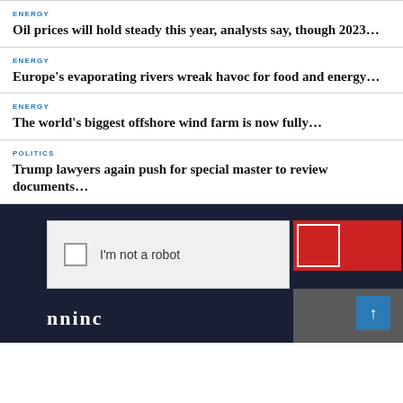ENERGY
Oil prices will hold steady this year, analysts say, though 2023…
ENERGY
Europe's evaporating rivers wreak havoc for food and energy…
ENERGY
The world's biggest offshore wind farm is now fully…
POLITICS
Trump lawyers again push for special master to review documents…
[Figure (screenshot): CAPTCHA widget showing 'I'm not a robot' checkbox with reCAPTCHA logo in red, on dark navy background with partial white text below and a blue scroll-to-top button]